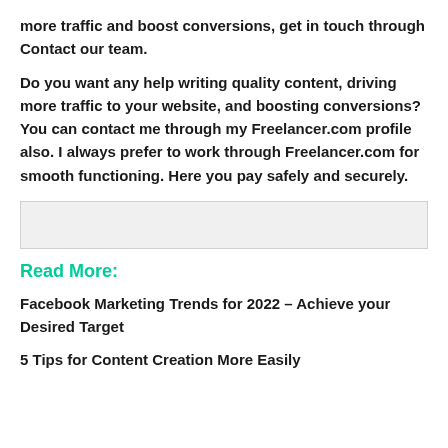more traffic and boost conversions, get in touch through Contact our team.
Do you want any help writing quality content, driving more traffic to your website, and boosting conversions? You can contact me through my Freelancer.com profile also. I always prefer to work through Freelancer.com for smooth functioning. Here you pay safely and securely.
[Figure (other): Gray placeholder box]
Read More:
Facebook Marketing Trends for 2022 – Achieve your Desired Target
5 Tips for Content Creation More Easily